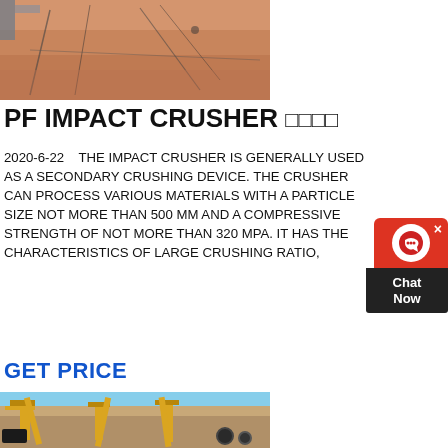[Figure (photo): Aerial view of a construction or mining site with reddish-orange sandy ground and equipment/cables visible from above]
PF IMPACT CRUSHER 反击破
2020-6-22    THE IMPACT CRUSHER IS GENERALLY USED AS A SECONDARY CRUSHING DEVICE. THE CRUSHER CAN PROCESS VARIOUS MATERIALS WITH A PARTICLE SIZE NOT MORE THAN 500 MM AND A COMPRESSIVE STRENGTH OF NOT MORE THAN 320 MPA. IT HAS THE CHARACTERISTICS OF LARGE CRUSHING RATIO,
GET PRICE
[Figure (photo): Yellow heavy crushing/mining equipment and conveyor systems at an open-air desert quarry or mining site, with a dark vehicle visible at lower left]